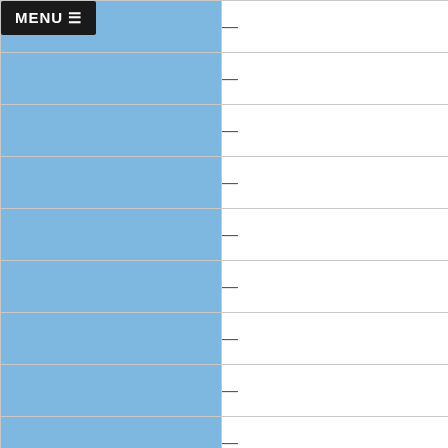|  |  |
| --- | --- |
| MENU ≡ | — |
|  | — |
|  | — |
|  | — |
|  | — |
|  | — |
|  | — |
|  | — |
|  | — |
Economically Disadvantaged
|  |  |
| --- | --- |
|  | 36 |
|  |  |